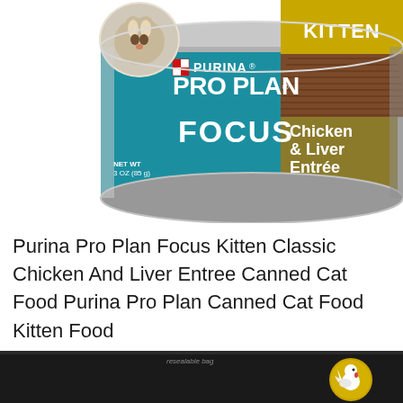[Figure (photo): Purina Pro Plan Focus Kitten Classic Chicken & Liver Entrée canned cat food, 3 oz (85g) can with teal, gold, and white label showing a kitten image]
Purina Pro Plan Focus Kitten Classic Chicken And Liver Entree Canned Cat Food Purina Pro Plan Canned Cat Food Kitten Food
[Figure (photo): Bottom portion of a black resealable bag of Purina Pro Plan cat food with a gold chicken icon circle on the right side]